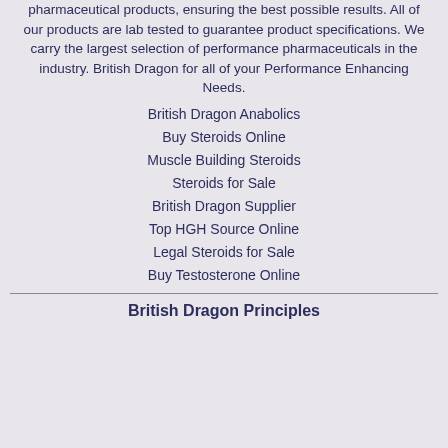pharmaceutical products, ensuring the best possible results. All of our products are lab tested to guarantee product specifications. We carry the largest selection of performance pharmaceuticals in the industry. British Dragon for all of your Performance Enhancing Needs.
British Dragon Anabolics
Buy Steroids Online
Muscle Building Steroids
Steroids for Sale
British Dragon Supplier
Top HGH Source Online
Legal Steroids for Sale
Buy Testosterone Online
British Dragon Principles